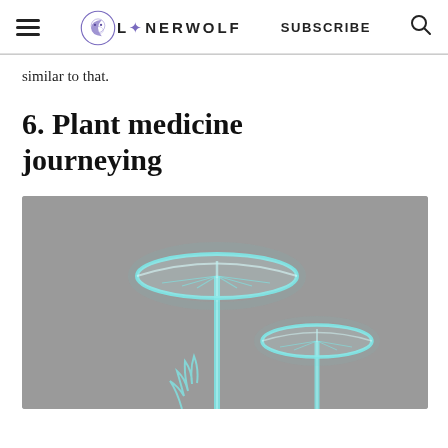LONERWOLF  SUBSCRIBE
similar to that.
6. Plant medicine journeying
[Figure (photo): Glowing cyan/blue-tinted mushrooms on a grey background, rendered in a bioluminescent style]